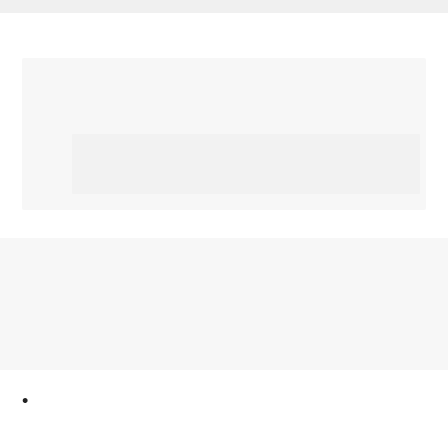[Figure (other): Gray top navigation bar strip]
[Figure (other): Light gray card area with inner lighter gray rectangle, representing a content placeholder block]
VISIT NOW
panzer-dragoon.com
•